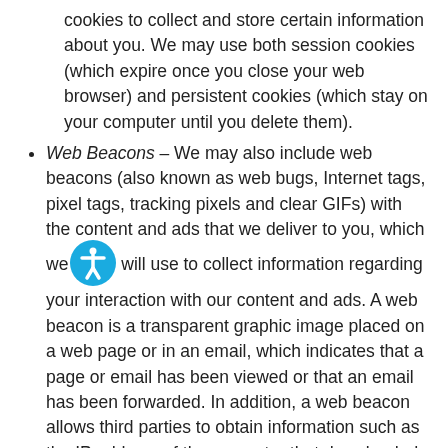cookies to collect and store certain information about you. We may use both session cookies (which expire once you close your web browser) and persistent cookies (which stay on your computer until you delete them).
Web Beacons – We may also include web beacons (also known as web bugs, Internet tags, pixel tags, tracking pixels and clear GIFs) with the content and ads that we deliver to you, which we will use to collect information regarding your interaction with our content and ads. A web beacon is a transparent graphic image placed on a web page or in an email, which indicates that a page or email has been viewed or that an email has been forwarded. In addition, a web beacon allows third parties to obtain information such as the IP address of the computer that downloaded the page on which the beacon appears, the URL of the page on which the beacon appears, the